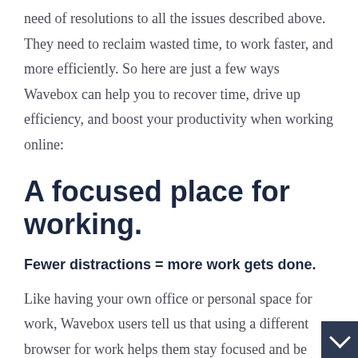need of resolutions to all the issues described above. They need to reclaim wasted time, to work faster, and more efficiently. So here are just a few ways Wavebox can help you to recover time, drive up efficiency, and boost your productivity when working online:
A focused place for working.
Fewer distractions = more work gets done.
Like having your own office or personal space for work, Wavebox users tell us that using a different browser for work helps them stay focused and be